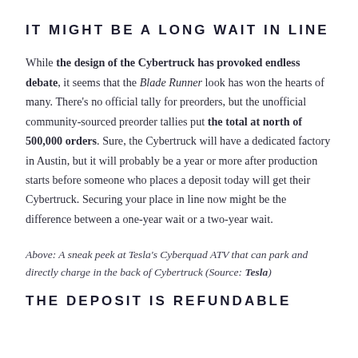IT MIGHT BE A LONG WAIT IN LINE
While the design of the Cybertruck has provoked endless debate, it seems that the Blade Runner look has won the hearts of many. There's no official tally for preorders, but the unofficial community-sourced preorder tallies put the total at north of 500,000 orders. Sure, the Cybertruck will have a dedicated factory in Austin, but it will probably be a year or more after production starts before someone who places a deposit today will get their Cybertruck. Securing your place in line now might be the difference between a one-year wait or a two-year wait.
Above: A sneak peek at Tesla's Cyberquad ATV that can park and directly charge in the back of Cybertruck (Source: Tesla)
THE DEPOSIT IS REFUNDABLE